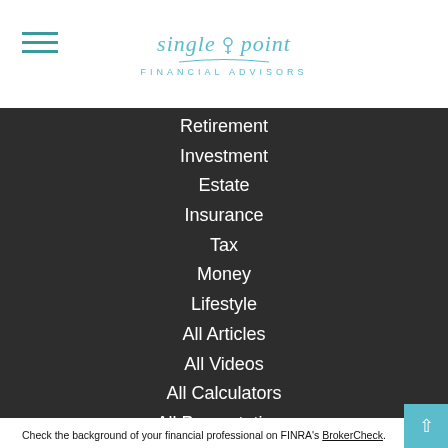Single Point Financial Advisors
Retirement
Investment
Estate
Insurance
Tax
Money
Lifestyle
All Articles
All Videos
All Calculators
All Presentations
Check the background of your financial professional on FINRA's BrokerCheck.
The content is developed from sources believed to be providing accurate information. The information in this material is not intended as tax or legal advice. Please consult legal or tax professionals for specific information regarding your individual situation. Some of this material was developed and produced by FMG Suite to provide information on a topic that may be of interest. FMG Suite is not affiliated with the named representative, broker - dealer, state - or SEC - registered investment advisory firm. The opinions expressed and material provided are for